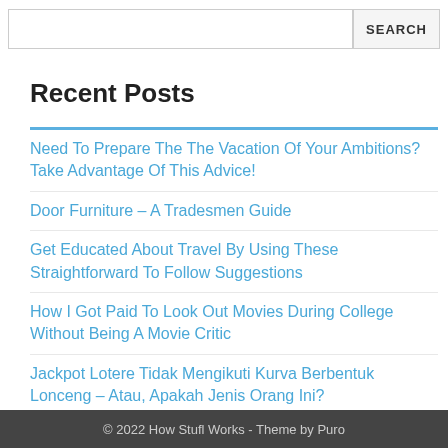Recent Posts
Need To Prepare The The Vacation Of Your Ambitions? Take Advantage Of This Advice!
Door Furniture – A Tradesmen Guide
Get Educated About Travel By Using These Straightforward To Follow Suggestions
How I Got Paid To Look Out Movies During College Without Being A Movie Critic
Jackpot Lotere Tidak Mengikuti Kurva Berbentuk Lonceng – Atau, Apakah Jenis Orang Ini?
© 2022 How Stufl Works  -  Theme by Puro